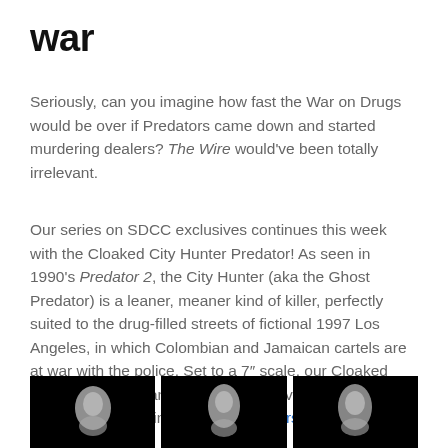war
Seriously, can you imagine how fast the War on Drugs would be over if Predators came down and started murdering dealers? The Wire would've been totally irrelevant.
Our series on SDCC exclusives continues this week with the Cloaked City Hunter Predator! As seen in 1990's Predator 2, the City Hunter (aka the Ghost Predator) is a leaner, meaner kind of killer, perfectly suited to the drug-filled streets of fictional 1997 Los Angeles, in which Colombian and Jamaican cartels are at war with the police. Set to a 7" scale, our Cloaked City Hunter is an answer to the first-ever City Hunter figure, which was included in Predators Series 4 late last year.
[Figure (photo): Three black-background photos of Predator figures side by side, partially cropped at bottom of page]